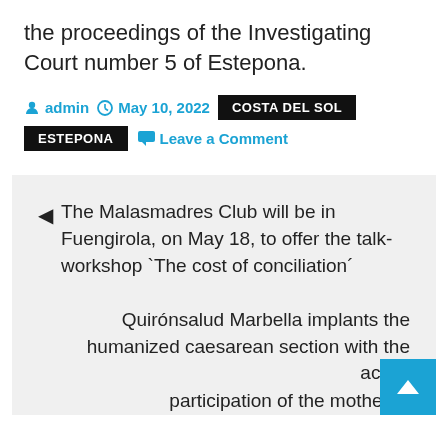the proceedings of the Investigating Court number 5 of Estepona.
admin  May 10, 2022  COSTA DEL SOL
ESTEPONA  Leave a Comment
◀ The Malasmadres Club will be in Fuengirola, on May 18, to offer the talk-workshop 'The cost of conciliation'
Quirónsalud Marbella implants the humanized caesarean section with the active participation of the mother ▶